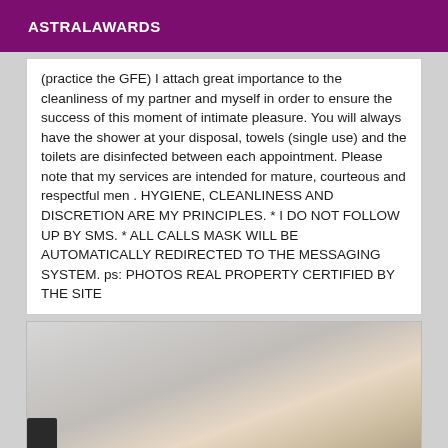ASTRALAWARDS
(practice the GFE) I attach great importance to the cleanliness of my partner and myself in order to ensure the success of this moment of intimate pleasure. You will always have the shower at your disposal, towels (single use) and the toilets are disinfected between each appointment. Please note that my services are intended for mature, courteous and respectful men . HYGIENE, CLEANLINESS AND DISCRETION ARE MY PRINCIPLES. * I DO NOT FOLLOW UP BY SMS. * ALL CALLS MASK WILL BE AUTOMATICALLY REDIRECTED TO THE MESSAGING SYSTEM. ps: PHOTOS REAL PROPERTY CERTIFIED BY THE SITE
[Figure (photo): Partial body photo, cropped, showing skin/torso area against a light background with a dark element at lower left.]